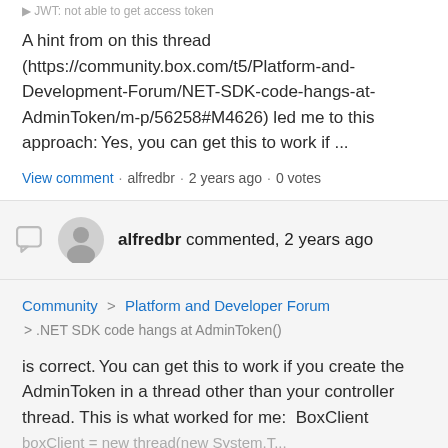A hint from on this thread (https://community.box.com/t5/Platform-and-Development-Forum/NET-SDK-code-hangs-at-AdminToken/m-p/56258#M4626) led me to this approach: Yes, you can get this to work if ...
View comment · alfredbr · 2 years ago · 0 votes
alfredbr commented, 2 years ago
Community > Platform and Developer Forum > .NET SDK code hangs at AdminToken()
is correct. You can get this to work if you create the AdminToken in a thread other than your controller thread. This is what worked for me:  BoxClient boxClient = new thread(new System.T...